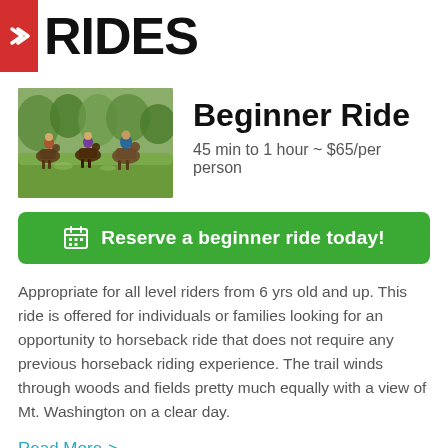RIDES
Beginner Ride
45 min to 1 hour ~ $65/per person
Reserve a beginner ride today!
Appropriate for all level riders from 6 yrs old and up. This ride is offered for individuals or families looking for an opportunity to horseback ride that does not require any previous horseback riding experience. The trail winds through woods and fields pretty much equally with a view of Mt. Washington on a clear day.
Read More